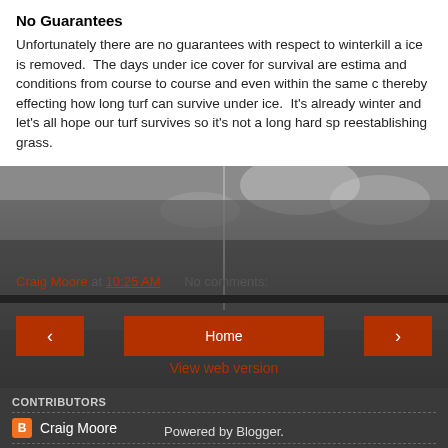No Guarantees
Unfortunately there are no guarantees with respect to winterkill a ice is removed. The days under ice cover for survival are estima and conditions from course to course and even within the same c thereby effecting how long turf can survive under ice. It's alread winter and let’s all hope our turf survives so it’s not a long hard sp reestablishing grass.
Craig Moore at 10:25 AM   No comments:
[Figure (screenshot): Navigation buttons: left arrow, Home, right arrow on dark background with golf course photo]
View web version
CONTRIBUTORS
Craig Moore
Marquette Golf Club Grounds
Powered by Blogger.